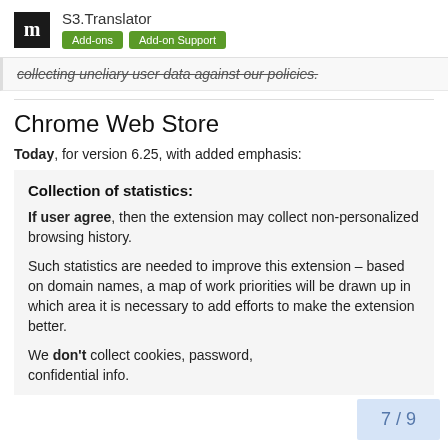S3.Translator | Add-ons | Add-on Support
collecting uneliary user data against our policies.
Chrome Web Store
Today, for version 6.25, with added emphasis:
Collection of statistics:
If user agree, then the extension may collect non-personalized browsing history.
Such statistics are needed to improve this extension – based on domain names, a map of work priorities will be drawn up in which area it is necessary to add efforts to make the extension better.
We don't collect cookies, password, confidential info.
7 / 9